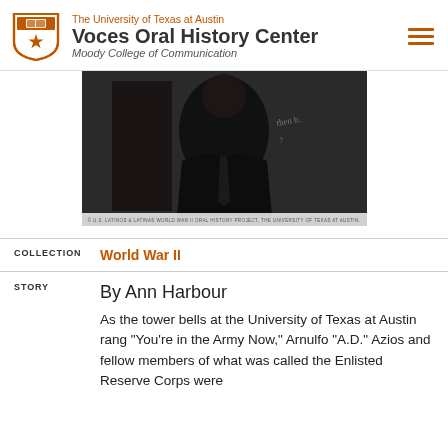The University of Texas at Austin Voces Oral History Center Moody College of Communication
[Figure (photo): Black and white photograph of a person in formal attire, partially visible, with a handwritten inscription visible on the right side. A copyright/credit line appears at the bottom of the image.]
COLLECTION
World War II
STORY
By Ann Harbour
As the tower bells at the University of Texas at Austin rang "You're in the Army Now," Arnulfo "A.D." Azios and fellow members of what was called the Enlisted Reserve Corps were